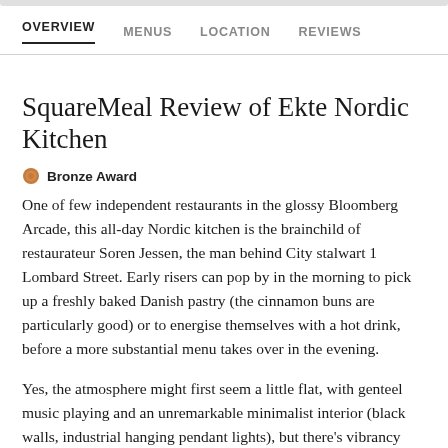OVERVIEW   MENUS   LOCATION   REVIEWS
SquareMeal Review of Ekte Nordic Kitchen
Bronze Award
One of few independent restaurants in the glossy Bloomberg Arcade, this all-day Nordic kitchen is the brainchild of restaurateur Soren Jessen, the man behind City stalwart 1 Lombard Street. Early risers can pop by in the morning to pick up a freshly baked Danish pastry (the cinnamon buns are particularly good) or to energise themselves with a hot drink, before a more substantial menu takes over in the evening.
Yes, the atmosphere might first seem a little flat, with genteel music playing and an unremarkable minimalist interior (black walls, industrial hanging pendant lights), but there's vibrancy aplenty to be found in the young, charming staff and the